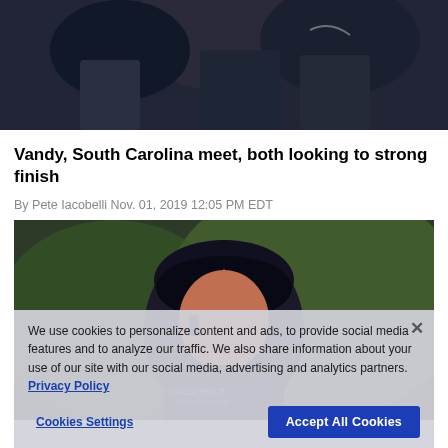[Figure (photo): Top cropped photo showing people in dark winter clothing, possibly at a sports event]
Vandy, South Carolina meet, both looking to strong finish
By Pete Iacobelli Nov. 01, 2019 12:05 PM EDT
[Figure (photo): Photo of a Vanderbilt football coach wearing a visor with a star logo, with a cookie consent overlay]
We use cookies to personalize content and ads, to provide social media features and to analyze our traffic. We also share information about your use of our site with our social media, advertising and analytics partners. Privacy Policy
Cookies Settings   Accept All Cookies